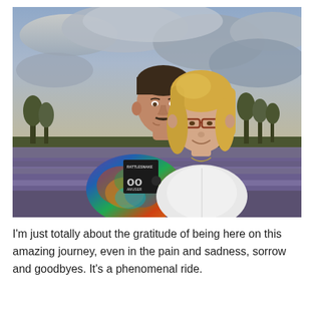[Figure (photo): A man and woman posing together outdoors. The man is on the left wearing a colorful tie-dye t-shirt with 'Rattlesnake' text. The woman is on the right wearing a white sleeveless top and glasses with blonde hair. They are smiling with a lavender field and cloudy sky in the background.]
I'm just totally about the gratitude of being here on this amazing journey, even in the pain and sadness, sorrow and goodbyes. It's a phenomenal ride.